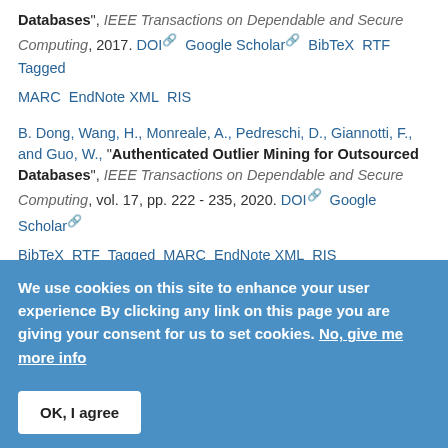Databases", IEEE Transactions on Dependable and Secure Computing, 2017. DOI Google Scholar BibTeX RTF Tagged MARC EndNote XML RIS
B. Dong, Wang, H., Monreale, A., Pedreschi, D., Giannotti, F., and Guo, W., "Authenticated Outlier Mining for Outsourced Databases", IEEE Transactions on Dependable and Secure Computing, vol. 17, pp. 222 - 235, 2020. DOI Google Scholar BibTeX RTF Tagged MARC EndNote XML RIS
B
R. Guidotti, Coscia, M., Pedreschi, D., and Pennacchioli, D.,
We use cookies on this site to enhance your user experience By clicking any link on this page you are giving your consent for us to set cookies. No, give me more info
OK, I agree